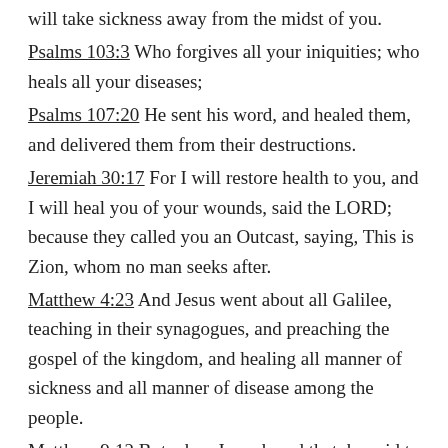will take sickness away from the midst of you.
Psalms 103:3 Who forgives all your iniquities; who heals all your diseases;
Psalms 107:20 He sent his word, and healed them, and delivered them from their destructions.
Jeremiah 30:17 For I will restore health to you, and I will heal you of your wounds, said the LORD; because they called you an Outcast, saying, This is Zion, whom no man seeks after.
Matthew 4:23 And Jesus went about all Galilee, teaching in their synagogues, and preaching the gospel of the kingdom, and healing all manner of sickness and all manner of disease among the people.
Matthew 9:12 But when Jesus heard that, he said to them, They that be whole need not a physician, but they that are sick.
Mark...